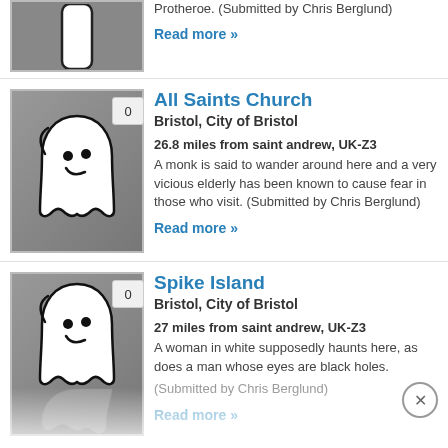Protheroe. (Submitted by Chris Berglund)
Read more »
[Figure (illustration): Ghost cartoon icon on grey background with badge showing 0]
All Saints Church
Bristol, City of Bristol
26.8 miles from saint andrew, UK-Z3
A monk is said to wander around here and a very vicious elderly has been known to cause fear in those who visit. (Submitted by Chris Berglund)
Read more »
[Figure (illustration): Ghost cartoon icon on grey background with badge showing 0]
Spike Island
Bristol, City of Bristol
27 miles from saint andrew, UK-Z3
A woman in white supposedly haunts here, as does a man whose eyes are black holes. (Submitted by Chris Berglund)
Read more »